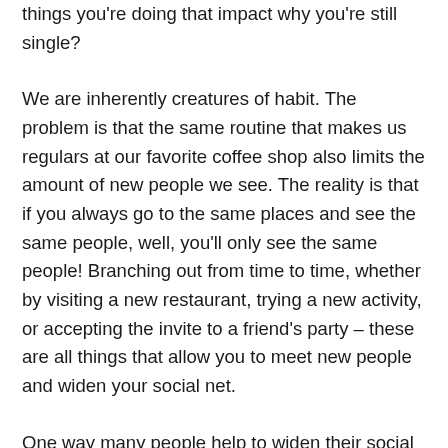things you're doing that impact why you're still single?
We are inherently creatures of habit. The problem is that the same routine that makes us regulars at our favorite coffee shop also limits the amount of new people we see. The reality is that if you always go to the same places and see the same people, well, you'll only see the same people! Branching out from time to time, whether by visiting a new restaurant, trying a new activity, or accepting the invite to a friend's party – these are all things that allow you to meet new people and widen your social net.
One way many people help to widen their social circle is through the use of dating apps — Tinder, Bumble, Hinge — they are great options to connect with other singles. The problem that seems to crop up most frequently in online dating are profiles that don't quite represent a person as well as they could. Photos that don't show your smile or bios that